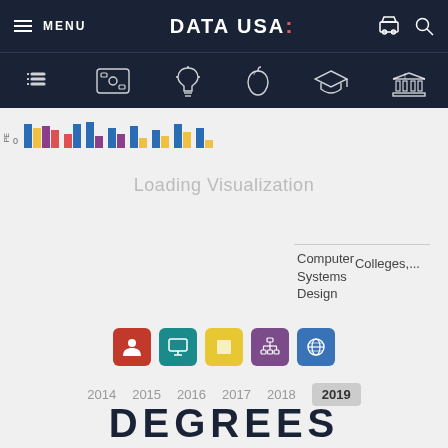MENU | DATA USA: | (cart icon) (search icon)
Sub-navigation icons: list, money, lightbulb, apple, graduation cap, building
[Figure (bar-chart): Partially visible bar chart strip with colorful bars (blue, yellow, red, purple) along horizontal axis, with axis label 'PE' and value 0]
Loading Visualization
Computer Systems Design
Colleges,...
[Figure (infographic): Row of 5 colored icon boxes: red (person icon), teal (monitor icon), yellow (square), purple (network/org chart icon), blue (globe icon)]
2014  2015  2016  2017  2018  2019
DEGREES